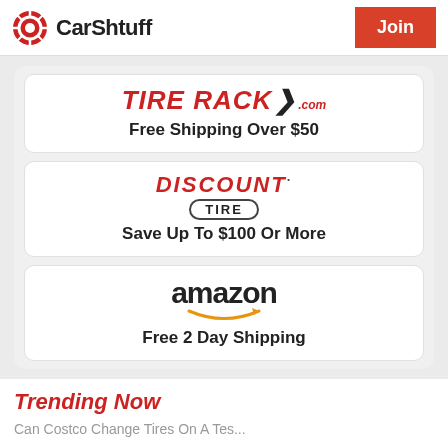CarShtuff | Join
[Figure (logo): Tire Rack .com logo in red italic bold uppercase text with chevron]
Free Shipping Over $50
[Figure (logo): Discount Tire logo - DISCOUNT in red italic bold uppercase, TIRE in black bordered pill shape]
Save Up To $100 Or More
[Figure (logo): Amazon logo in black bold text with orange arrow-smile underneath]
Free 2 Day Shipping
Trending Now